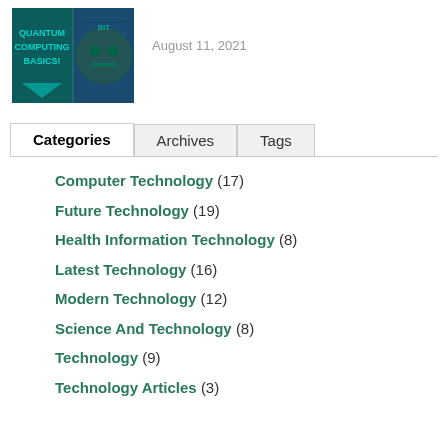[Figure (photo): Thumbnail image with quantum computing visuals showing text QUANTUM COMPUTING BASICS and a tech-themed robot face]
August 11, 2021
Categories | Archives | Tags
Computer Technology (17)
Future Technology (19)
Health Information Technology (8)
Latest Technology (16)
Modern Technology (12)
Science And Technology (8)
Technology (9)
Technology Articles (3)